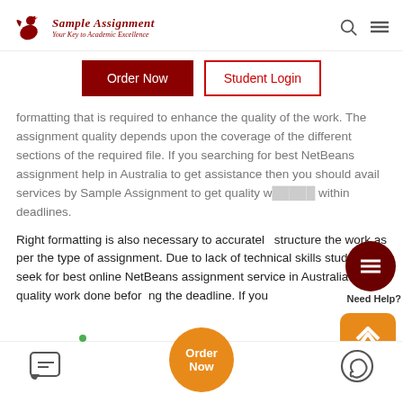[Figure (logo): Sample Assignment logo with red bird and italic text 'Sample Assignment - Your Key to Academic Excellence']
Order Now
Student Login
formatting that is required to enhance the quality of the work. The assignment quality depends upon the coverage of the different sections of the required file. If you searching for best NetBeans assignment help in Australia to get assistance then you should avail services by Sample Assignment to get quality work within deadlines.
Right formatting is also necessary to accurately structure the work as per the type of assignment. Due to lack of technical skills student seek for best online NetBeans assignment service in Australia to get quality work done before the deadline. If you